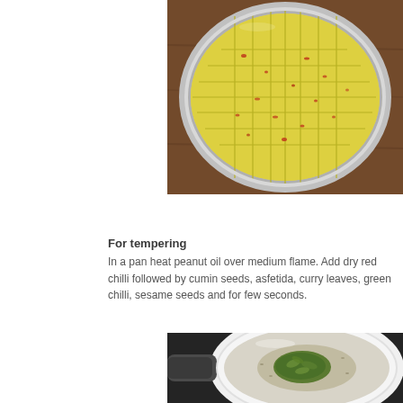[Figure (photo): Overhead view of golden yellow steamed dhokla (chickpea flour cake) cut into diamond/square pieces in a round silver pan, sprinkled with red chilli flakes, placed on a dark wooden surface.]
For tempering
In a pan heat peanut oil over medium flame. Add dry red chilli followed by cumin seeds, asfetida, curry leaves, green chilli, sesame seeds and for few seconds.
[Figure (photo): A white enameled cast iron pan/pot with a dark handle on a stovetop, containing a mixture with green herbs/spices visible, seen from above at the beginning of the tempering process.]